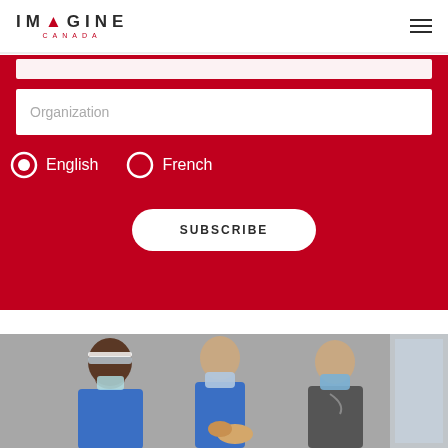IMAGINE CANADA
[Figure (screenshot): Imagine Canada website screenshot showing a subscription form on a red background with Organization text input, English/French radio buttons, and a SUBSCRIBE button, followed by a photo of three people wearing masks]
Organization
English (selected radio button)
French (unselected radio button)
SUBSCRIBE
[Figure (photo): Three people wearing masks (two in blue, one in grey), one holding a dog, in a veterinary or healthcare setting]